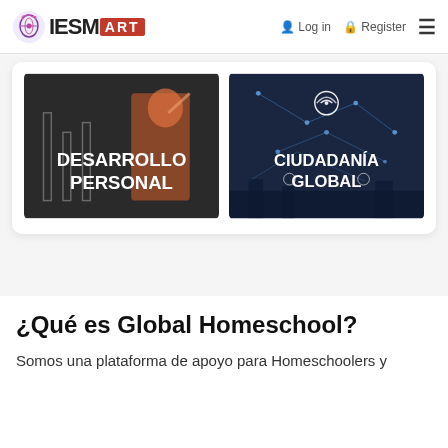IESMART — Login | Register
[Figure (photo): Two promotional cards side by side. Left card: dark chalkboard background with a child reaching upward, white bold text reads 'DESARROLLO PERSONAL'. Right card: dark blue network/globe background, white bold text reads 'CIUDADANÍA GLOBAL'.]
¿Qué es Global Homeschool?
Somos una plataforma de apoyo para Homeschoolers y